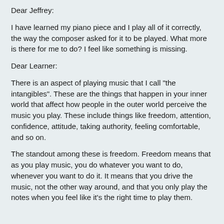Dear Jeffrey:
I have learned my piano piece and I play all of it correctly, the way the composer asked for it to be played. What more is there for me to do? I feel like something is missing.
Dear Learner:
There is an aspect of playing music that I call "the intangibles". These are the things that happen in your inner world that affect how people in the outer world perceive the music you play. These include things like freedom, attention, confidence, attitude, taking authority, feeling comfortable, and so on.
The standout among these is freedom. Freedom means that as you play music, you do whatever you want to do, whenever you want to do it. It means that you drive the music, not the other way around, and that you only play the notes when you feel like it's the right time to play them.